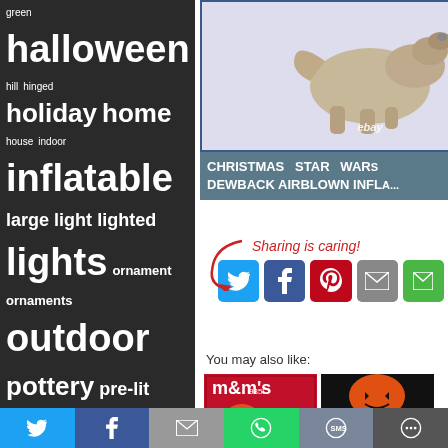green halloween hill hinged holiday home house indoor inflatable large light lighted lights ornament ornaments outdoor pottery pre-lit pumpkin rare reindeer santa skeleton snow spruce stand tree vintage white wreath xmas yard
Contact
Privacy Policy
Terms Of Service
[Figure (photo): Inflatable dinosaur/dewback product image with eBay watermark]
CHRISTMAS STAR WARS DEWBACK AIRBLOWN INFLA...
[Figure (infographic): Sharing is caring! with social share buttons: Twitter, Facebook, Pinterest, Email]
You may also like:
[Figure (photo): M&Ms holiday product image with eBay watermark, Blog Archiv »]
[Figure (photo): Halloween inflatable bat/pumpkin creature image, Blog Archiv »]
[Figure (infographic): Bottom share bar with Twitter, Facebook, Email, WhatsApp, SMS, More buttons]